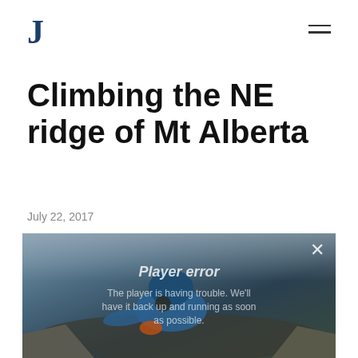J
Climbing the NE ridge of Mt Alberta
July 22, 2017
[Figure (photo): A climber in a blue jacket with a backpack scrambling over rocky terrain in foggy/misty conditions. A video player error overlay reads 'Player error' with message text about the player not being available.]